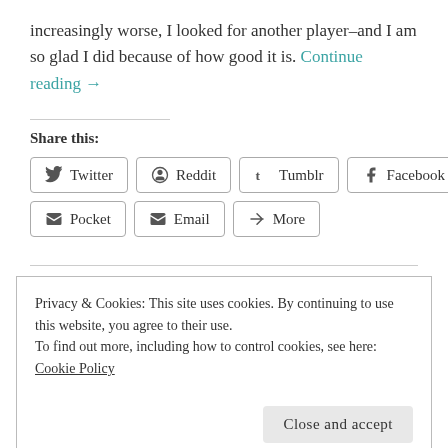increasingly worse, I looked for another player–and I am so glad I did because of how good it is. Continue reading →
Share this:
Twitter Reddit Tumblr Facebook Pocket Email More
Privacy & Cookies: This site uses cookies. By continuing to use this website, you agree to their use. To find out more, including how to control cookies, see here: Cookie Policy
Close and accept